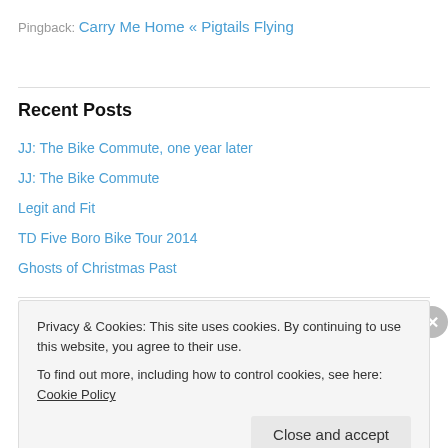Pingback: Carry Me Home « Pigtails Flying
Recent Posts
JJ: The Bike Commute, one year later
JJ: The Bike Commute
Legit and Fit
TD Five Boro Bike Tour 2014
Ghosts of Christmas Past
Privacy & Cookies: This site uses cookies. By continuing to use this website, you agree to their use. To find out more, including how to control cookies, see here: Cookie Policy
Close and accept